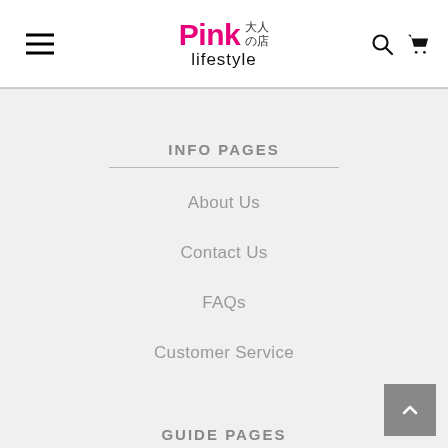Pink lifestyle 大人の店 — navigation header with hamburger menu, search icon, and cart icon
INFO PAGES
About Us
Contact Us
FAQs
Customer Service
GUIDE PAGES